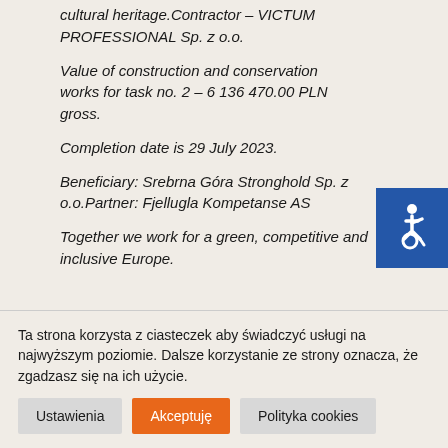cultural heritage.Contractor – VICTUM PROFESSIONAL Sp. z o.o.
Value of construction and conservation works for task no. 2 – 6 136 470.00 PLN gross.
Completion date is 29 July 2023.
Beneficiary: Srebrna Góra Stronghold Sp. z o.o.Partner: Fjellugla Kompetanse AS
Together we work for a green, competitive and inclusive Europe.
[Figure (illustration): Blue square with white wheelchair accessibility icon]
Ta strona korzysta z ciasteczek aby świadczyć usługi na najwyższym poziomie. Dalsze korzystanie ze strony oznacza, że zgadzasz się na ich użycie.